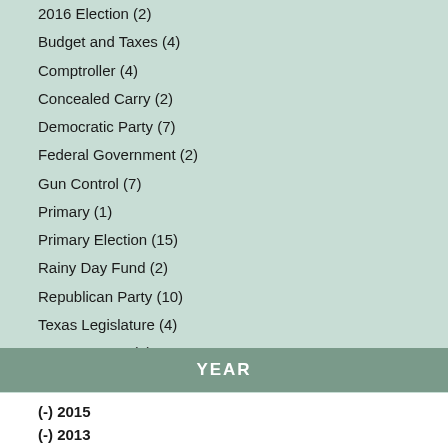2016 Election (2)
Budget and Taxes (4)
Comptroller (4)
Concealed Carry (2)
Democratic Party (7)
Federal Government (2)
Gun Control (7)
Primary (1)
Primary Election (15)
Rainy Day Fund (2)
Republican Party (10)
Texas Legislature (4)
Texas Senate (1)
U.S. Congress (3)
Voting/Elections (2)
YEAR
(-) 2015
(-) 2013